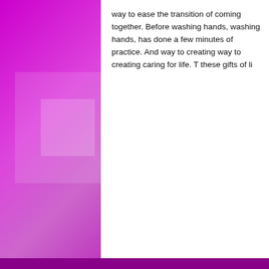way to ease the transition of coming together. Before washing hands, has done a few minutes of practice. And way to creating caring for life. These gifts of life
Arthur Back
Arthur E
Coach
November